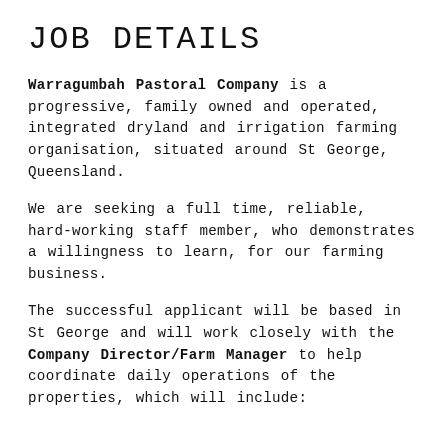JOB DETAILS
Warragumbah Pastoral Company is a progressive, family owned and operated, integrated dryland and irrigation farming organisation, situated around St George, Queensland.
We are seeking a full time, reliable, hard-working staff member, who demonstrates a willingness to learn, for our farming business.
The successful applicant will be based in St George and will work closely with the Company Director/Farm Manager to help coordinate daily operations of the properties, which will include: